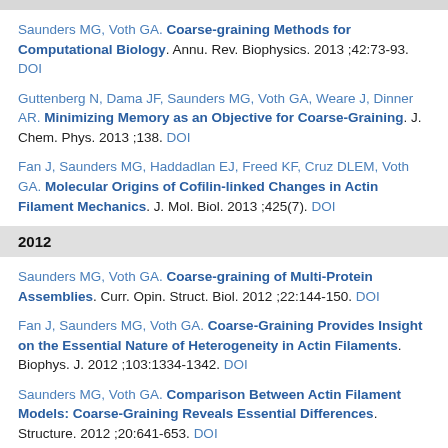Saunders MG, Voth GA. Coarse-graining Methods for Computational Biology. Annu. Rev. Biophysics. 2013 ;42:73-93. DOI
Guttenberg N, Dama JF, Saunders MG, Voth GA, Weare J, Dinner AR. Minimizing Memory as an Objective for Coarse-Graining. J. Chem. Phys. 2013 ;138. DOI
Fan J, Saunders MG, Haddadlan EJ, Freed KF, Cruz DLEM, Voth GA. Molecular Origins of Cofilin-linked Changes in Actin Filament Mechanics. J. Mol. Biol. 2013 ;425(7). DOI
2012
Saunders MG, Voth GA. Coarse-graining of Multi-Protein Assemblies. Curr. Opin. Struct. Biol. 2012 ;22:144-150. DOI
Fan J, Saunders MG, Voth GA. Coarse-Graining Provides Insight on the Essential Nature of Heterogeneity in Actin Filaments. Biophys. J. 2012 ;103:1334-1342. DOI
Saunders MG, Voth GA. Comparison Between Actin Filament Models: Coarse-Graining Reveals Essential Differences. Structure. 2012 ;20:641-653. DOI
Sinitskiy AV, Saunders MG, Voth GA. Optimal Number of Coarse-